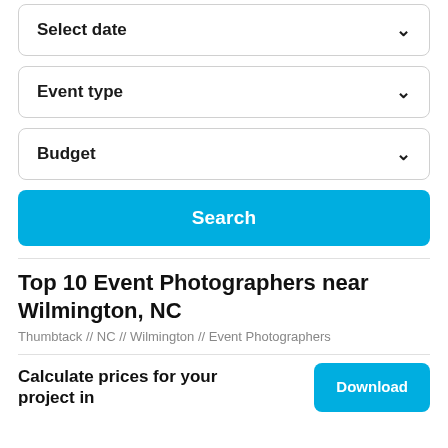Select date
Event type
Budget
Search
Top 10 Event Photographers near Wilmington, NC
Thumbtack // NC // Wilmington // Event Photographers
Calculate prices for your project in
Download